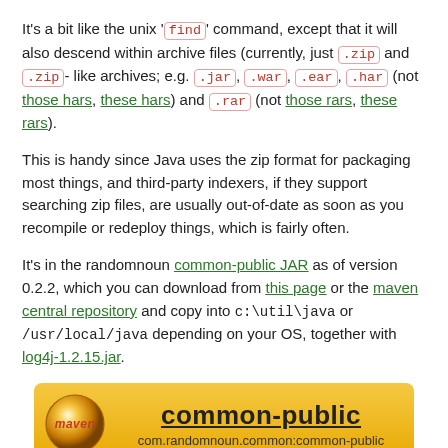It's a bit like the unix 'find' command, except that it will also descend within archive files (currently, just .zip and .zip-like archives; e.g. .jar, .war, .ear, .har (not those hars, these hars) and .rar (not those rars, these rars).
This is handy since Java uses the zip format for packaging most things, and third-party indexers, if they support searching zip files, are usually out-of-date as soon as you recompile or redeploy things, which is fairly often.
It's in the randomnoun common-public JAR as of version 0.2.2, which you can download from this page or the maven central repository and copy into c:\util\java or /usr/local/java depending on your OS, together with log4j-1.2.15.jar.
[Figure (infographic): Maven logo with orange gradient background showing 'common-public' title and 'com.randomnoun.common:common-public' subtitle]
I usually run it from a command line using a .cmd or .sh